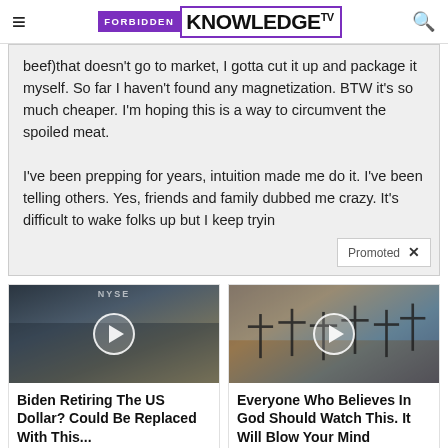Forbidden Knowledge TV
beef)that doesn't go to market, I gotta cut it up and package it myself. So far I haven't found any magnetization. BTW it's so much cheaper. I'm hoping this is a way to circumvent the spoiled meat.
I've been prepping for years, intuition made me do it. I've been telling others. Yes, friends and family dubbed me crazy. It's difficult to wake folks up but I keep tryin
[Figure (screenshot): Promoted ad widget with two video thumbnails]
Biden Retiring The US Dollar? Could Be Replaced With This...
Watch The Video
Everyone Who Believes In God Should Watch This. It Will Blow Your Mind
Watch The Video